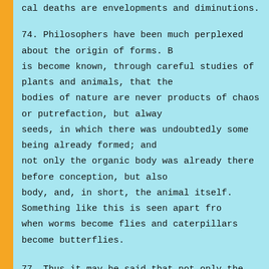cal deaths are envelopments and diminutions.
74. Philosophers have been much perplexed about the origin of forms. But it is become known, through careful studies of plants and animals, that the bodies of nature are never products of chaos or putrefaction, but always seeds, in which there was undoubtedly some being already formed; and not only the organic body was already there before conception, but also a body, and, in short, the animal itself. Something like this is seen apart from when worms become flies and caterpillars become butterflies.
77. Thus it may be said that not only the soul, being a mirror of an indestructible universe, is indestructible, but also the animal itself.
78. These principles have given me a way of explaining the union or rather agreement [conformite] of the soul and the organic body. The soul follows its own laws, and the body likewise follows its own laws; and they agree with each other by virtue of the pre-established harmony between all substances, since the